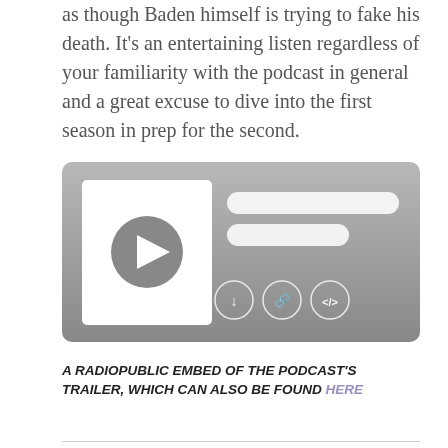as though Baden himself is trying to fake his death. It's an entertaining listen regardless of your familiarity with the podcast in general and a great excuse to dive into the first season in prep for the second.
[Figure (screenshot): A podcast audio player embed (RadioPublic style) with a grey rounded rectangle background, a white thumbnail area with a grey play button on the left, and two white rounded pill bars and three icon buttons (download, link, embed) on the right.]
A RADIOPUBLIC EMBED OF THE PODCAST'S TRAILER, WHICH CAN ALSO BE FOUND HERE